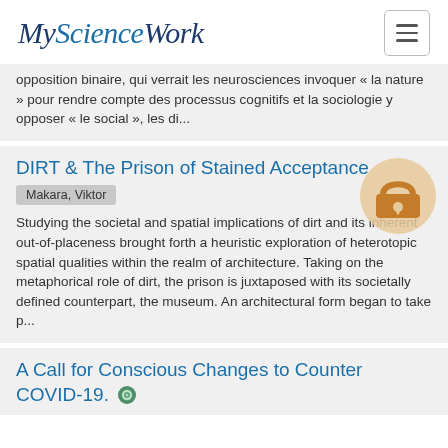MyScienceWork
opposition binaire, qui verrait les neurosciences invoquer « la nature » pour rendre compte des processus cognitifs et la sociologie y opposer « le social », les di...
DIRT & The Prison of Stained Acceptance
Makara, Viktor
Studying the societal and spatial implications of dirt and its inherent out-of-placeness brought forth a heuristic exploration of heterotopic spatial qualities within the realm of architecture. Taking on the metaphorical role of dirt, the prison is juxtaposed with its societally defined counterpart, the museum. An architectural form began to take p...
A Call for Conscious Changes to Counter COVID-19.